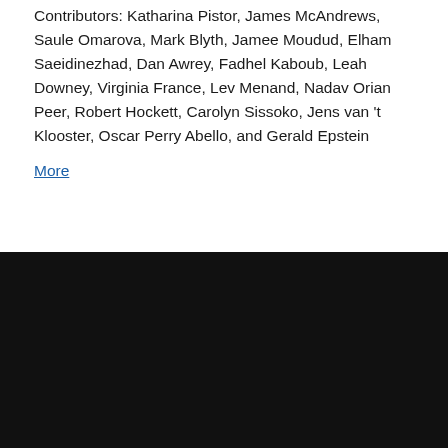Contributors: Katharina Pistor, James McAndrews, Saule Omarova, Mark Blyth, Jamee Moudud, Elham Saeidinezhad, Dan Awrey, Fadhel Kaboub, Leah Downey, Virginia France, Lev Menand, Nadav Orian Peer, Robert Hockett, Carolyn Sissoko, Jens van 't Klooster, Oscar Perry Abello, and Gerald Epstein
More